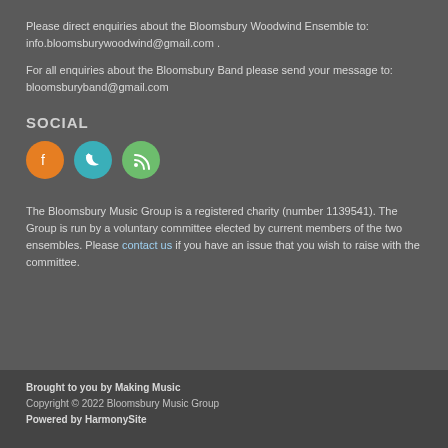Please direct enquiries about the Bloomsbury Woodwind Ensemble to: info.bloomsburywoodwind@gmail.com .
For all enquiries about the Bloomsbury Band please send your message to: bloomsburyband@gmail.com
SOCIAL
[Figure (illustration): Three circular social media icons: Facebook (orange), Twitter (teal), RSS feed (green)]
The Bloomsbury Music Group is a registered charity (number 1139541). The Group is run by a voluntary committee elected by current members of the two ensembles. Please contact us if you have an issue that you wish to raise with the committee.
Brought to you by Making Music
Copyright © 2022 Bloomsbury Music Group
Powered by HarmonySite